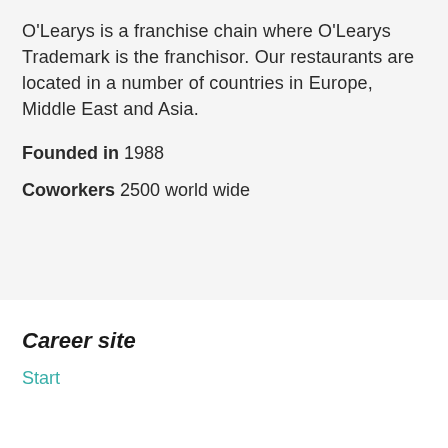O'Learys is a franchise chain where O'Learys Trademark is the franchisor. Our restaurants are located in a number of countries in Europe, Middle East and Asia.
Founded in 1988
Coworkers 2500 world wide
Career site
Start